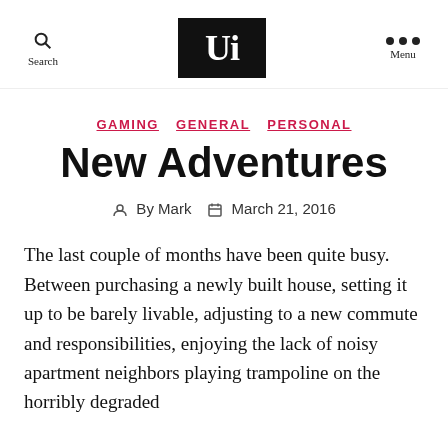Search  [Wi logo]  Menu
GAMING  GENERAL  PERSONAL
New Adventures
By Mark   March 21, 2016
The last couple of months have been quite busy. Between purchasing a newly built house, setting it up to be barely livable, adjusting to a new commute and responsibilities, enjoying the lack of noisy apartment neighbors playing trampoline on the horribly degraded